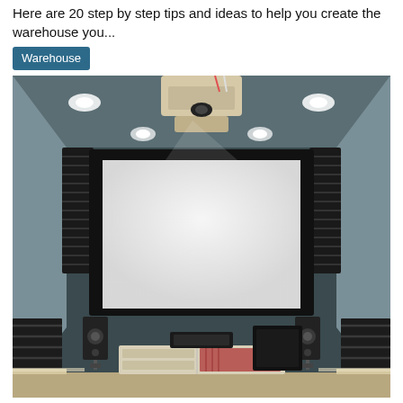Here are 20 step by step tips and ideas to help you create the warehouse you...
Warehouse
[Figure (photo): Interior of a home theater room with a large projection screen on the front wall, acoustic panels on the walls and ceiling, ceiling-mounted projector, two floor-standing speakers, an entertainment unit with AV equipment and media, and a subwoofer.]